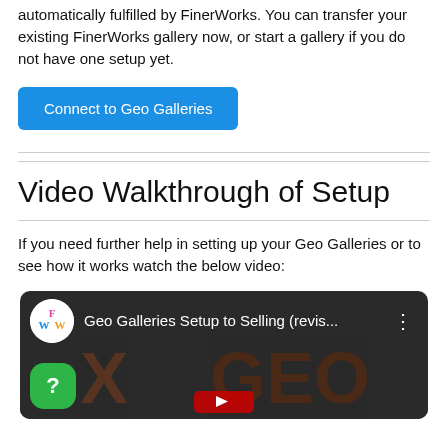automatically fulfilled by FinerWorks. You can transfer your existing FinerWorks gallery now, or start a gallery if you do not have one setup yet.
Connect to Geo Galleries
Video Walkthrough of Setup
If you need further help in setting up your Geo Galleries or to see how it works watch the below video:
[Figure (screenshot): YouTube video thumbnail showing 'Geo Galleries Setup to Selling (revis...)' with FinerWorks channel logo (colorful W logo on white circle), dark background with GEO logo watermark, and a green question mark badge in the bottom left.]